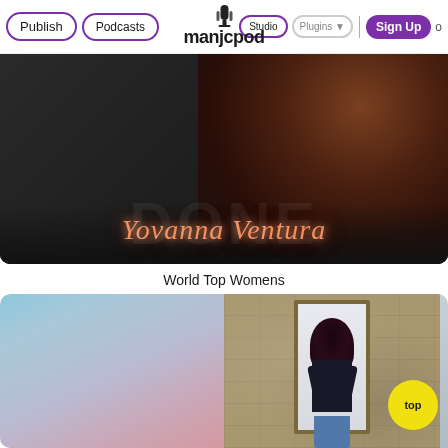Publish | Podcasts  Studio  Plugins ▼ | Sign Up
[Figure (photo): Hero banner showing a woman with long brown wavy hair wearing a dark hoodie, seen from behind/side. Neon-style cursive text reads 'Yovanna Ventura' overlaid on dark background.]
World Top Womens
[Figure (photo): Two podcast cover thumbnails side by side. Left: pastel gradient from sky blue to dusty rose. Right: photo of a woman with dark purple hair standing in a stone doorway, seen from behind, with yellow 'top' badge in corner.]